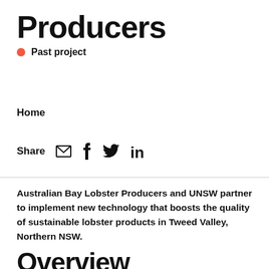Producers
Past project
Home
Share
Australian Bay Lobster Producers and UNSW partner to implement new technology that boosts the quality of sustainable lobster products in Tweed Valley, Northern NSW.
Overview